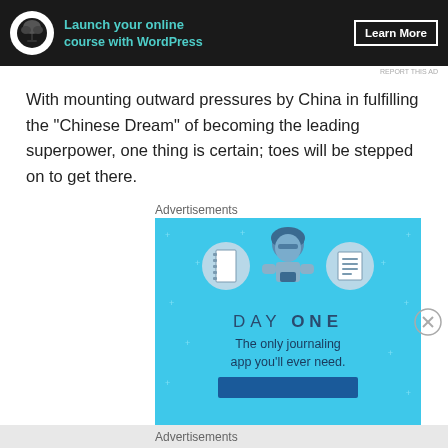[Figure (illustration): Dark banner advertisement: 'Launch your online course with WordPress' with a bonsai tree icon and 'Learn More' button]
REPORT THIS AD
With mounting outward pressures by China in fulfilling the "Chinese Dream" of becoming the leading superpower, one thing is certain; toes will be stepped on to get there.
Advertisements
[Figure (illustration): Blue advertisement for 'Day One' journaling app, showing a figure with notebook and list icons, text: 'The only journaling app you'll ever need.']
[Figure (other): Close/X button circle icon]
Advertisements
REPORT THIS AD